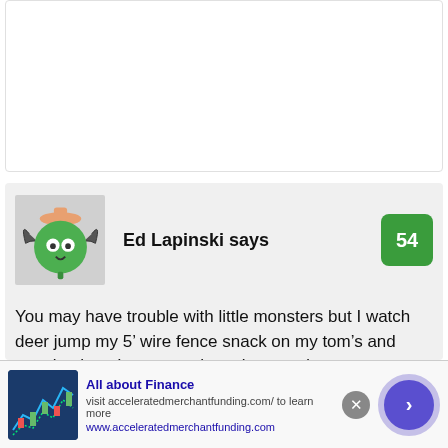[Figure (illustration): Empty white card / content placeholder area at top of page]
[Figure (illustration): Green round monster avatar with bat wings and orange hat]
Ed Lapinski says
54
You may have trouble with little monsters but I watch deer jump my 5’ wire fence snack on my tom’s and rose bushes. In season they also stand
[Figure (photo): Advertisement banner: stock market chart image on left, text 'All about Finance', 'visit acceleratedmerchantfunding.com/ to learn more', 'www.acceleratedmerchantfunding.com', with a purple circle next button and a close X button]